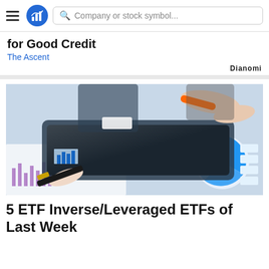Company or stock symbol...
for Good Credit
The Ascent
Dianomi
[Figure (photo): A person holding a stylus over a tablet, with financial charts and graphs on paper documents spread on a desk beneath. Another hand in the background also holds a stylus. The scene depicts financial analysis with printed pie charts and bar graphs visible.]
5 ETF Inverse/Leveraged ETFs of Last Week